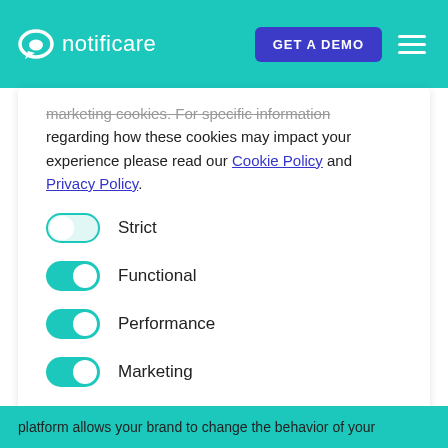notificare | GET A DEMO
marketing cookies. For specific information regarding how these cookies may impact your experience please read our Cookie Policy and Privacy Policy.
Strict (toggle off)
Functional (toggle on)
Performance (toggle on)
Marketing (toggle on)
SAVE SETTINGS
platform allows your brand to change the behavior of your